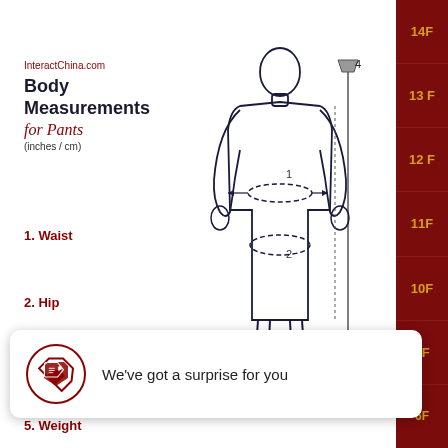InteractChina.com
Body Measurements for Pants (inches / cm)
1. Waist
2. Hip
[Figure (illustration): Human body outline diagram for body measurements, showing numbered measurement points: 1 at waist, 2 at hip, with a measuring pole labeled 4 on the right side. Lower legs visible at bottom.]
We've got a surprise for you
5. Weight